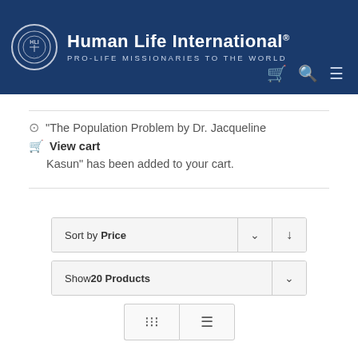[Figure (logo): Human Life International logo with circular emblem and text 'Human Life International® PRO-LIFE MISSIONARIES TO THE WORLD' on dark blue background with cart, search, and menu icons]
"The Population Problem by Dr. Jacqueline Kasun" has been added to your cart.  View cart
Sort by Price
Show 20 Products